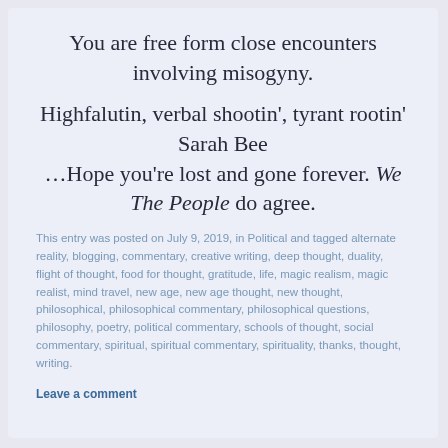You are free form close encounters involving misogyny.
Highfalutin, verbal shootin', tyrant rootin' Sarah Bee …Hope you're lost and gone forever. We The People do agree.
This entry was posted on July 9, 2019, in Political and tagged alternate reality, blogging, commentary, creative writing, deep thought, duality, flight of thought, food for thought, gratitude, life, magic realism, magic realist, mind travel, new age, new age thought, new thought, philosophical, philosophical commentary, philosophical questions, philosophy, poetry, political commentary, schools of thought, social commentary, spiritual, spiritual commentary, spirituality, thanks, thought, writing.
Leave a comment